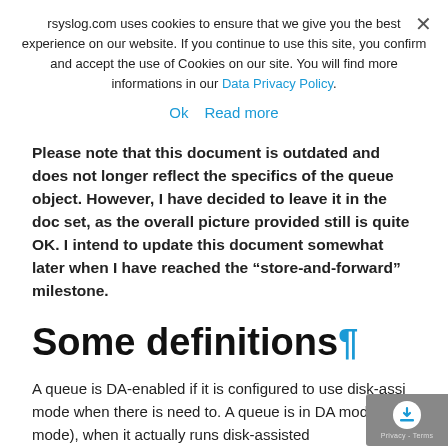rsyslog.com uses cookies to ensure that we give you the best experience on our website. If you continue to use this site, you confirm and accept the use of Cookies on our site. You will find more informations in our Data Privacy Policy.
Ok   Read more
Please note that this document is outdated and does not longer reflect the specifics of the queue object. However, I have decided to leave it in the doc set, as the overall picture provided still is quite OK. I intend to update this document somewhat later when I have reached the “store-and-forward” milestone.
Some definitions¶
A queue is DA-enabled if it is configured to use disk-assi... mode when there is need to. A queue is in DA mode (or D... mode), when it actually runs disk-assisted...